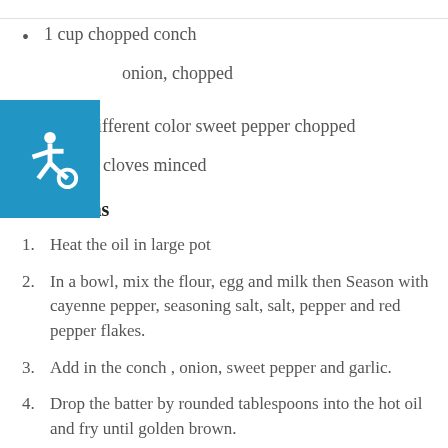[Figure (logo): Accessibility icon — white wheelchair symbol on blue background]
1 cup chopped conch
onion, chopped
1 cup different color sweet pepper chopped
2 garlic cloves minced
Directions
1. Heat the oil in large pot
2. In a bowl, mix the flour, egg and milk then Season with cayenne pepper, seasoning salt, salt, pepper and red pepper flakes.
3. Add in the conch , onion, sweet pepper and garlic.
4. Drop the batter by rounded tablespoons into the hot oil and fry until golden brown.
5. Remove the basket or with slotted spoon and drain on